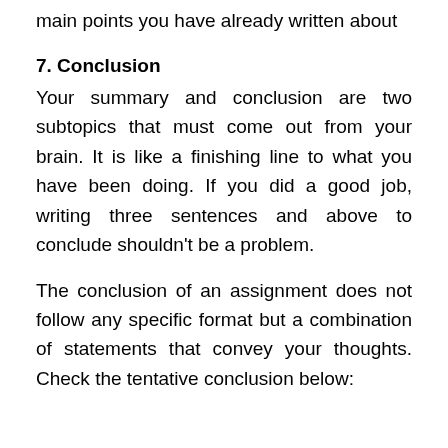main points you have already written about
7. Conclusion
Your summary and conclusion are two subtopics that must come out from your brain. It is like a finishing line to what you have been doing. If you did a good job, writing three sentences and above to conclude shouldn’t be a problem.
The conclusion of an assignment does not follow any specific format but a combination of statements that convey your thoughts. Check the tentative conclusion below: